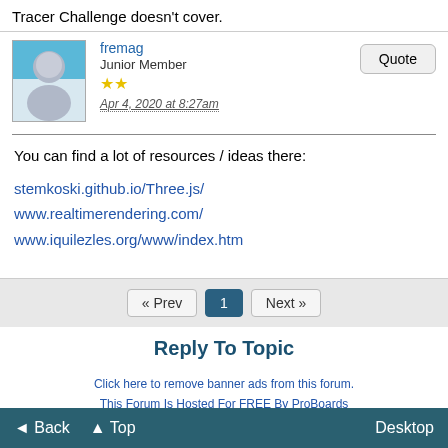Tracer Challenge doesn't cover.
fremag
Junior Member
★★
Apr 4, 2020 at 8:27am
You can find a lot of resources / ideas there:
stemkoski.github.io/Three.js/
www.realtimerendering.com/
www.iquilezles.org/www/index.htm
« Prev  1  Next »
Reply To Topic
Click here to remove banner ads from this forum.
This Forum Is Hosted For FREE By ProBoards
Get Your Own Free Forum!
Terms of Service  Privacy  Cookies  FTC Disclosure  Report Abuse
◄ Back  ▲ Top  Desktop